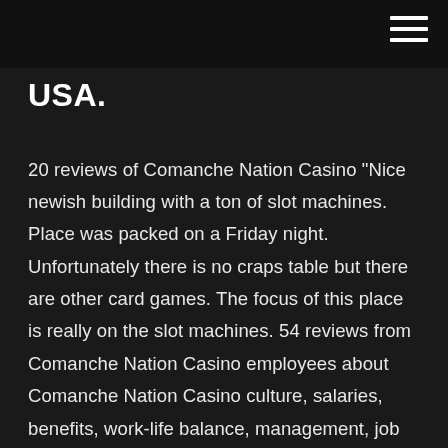USA.
20 reviews of Comanche Nation Casino "Nice newish building with a ton of slot machines. Place was packed on a Friday night. Unfortunately there is no craps table but there are other card games. The focus of this place is really on the slot machines. 54 reviews from Comanche Nation Casino employees about Comanche Nation Casino culture, salaries, benefits, work-life balance, management, job security, and more. Comanche Nation 584 NW Bingo RD Lawton, OK 73507 (Physical) PO Box 908 Lawton, OK 73502 (Mailing) Ph: (580) 492-3240 or 1-877-492-4988 Hours Of Operation Comanche Red River Hotel Casino, Devol, Oklahoma. 18,078 likes · 413 talking about this · 15,179 were here. Over $20 million given away each month! Big-